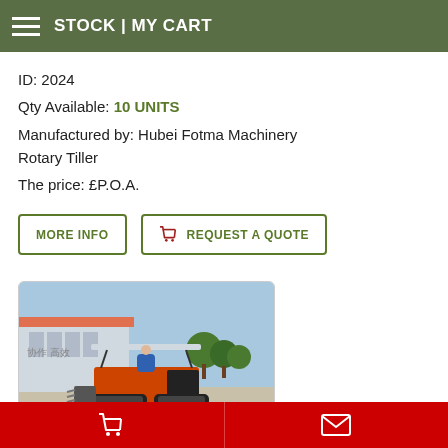STOCK | MY CART
ID: 2024
Qty Available: 10 UNITS
Manufactured by: Hubei Fotma Machinery Rotary Tiller
The price: £P.O.A.
MORE INFO
REQUEST A QUOTE
[Figure (photo): Orange rotary tiller machine photographed outdoors in front of a factory building with trees in the background and a blue sky. A person in a blue shirt is visible on the machine.]
Cart icon | Envelope icon